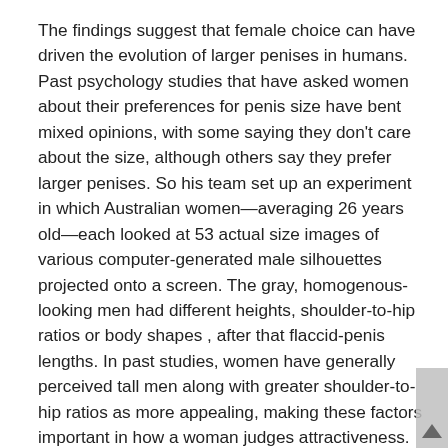The findings suggest that female choice can have driven the evolution of larger penises in humans. Past psychology studies that have asked women about their preferences for penis size have bent mixed opinions, with some saying they don't care about the size, although others say they prefer larger penises. So his team set up an experiment in which Australian women—averaging 26 years old—each looked at 53 actual size images of various computer-generated male silhouettes projected onto a screen. The gray, homogenous-looking men had different heights, shoulder-to-hip ratios or body shapes , after that flaccid-penis lengths. In past studies, women have generally perceived tall men along with greater shoulder-to-hip ratios as more appealing, making these factors important in how a woman judges attractiveness. The women in the current study were after that asked to rate the men arrange an attractiveness scale of , along with 1 being least attractive and 7 being most attractive. Although body affect was the most important factor all the rage whether or not women